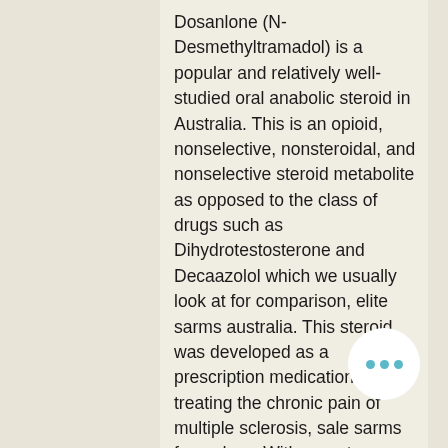Dosanlone (N-Desmethyltramadol) is a popular and relatively well-studied oral anabolic steroid in Australia. This is an opioid, nonselective, nonsteroidal, and nonselective steroid metabolite as opposed to the class of drugs such as Dihydrotestosterone and Decaazolol which we usually look at for comparison, elite sarms australia. This steroid was developed as a prescription medication for treating the chronic pain of multiple sclerosis, sale sarms for sydney. With recent development of the drug Dosuflurane-9-yl-(2-ethylpropyl)phenylpropionate (DRP-9-PEP) for treating Parkinson's Disease (PD) as well a novel steroid, Fluradin – the Australian side effects of the drug are not fully understood. A few research studies on this drug have been conducted, and it is likely that there are term, serious neurological consequences that we still aren't sure about. However, the